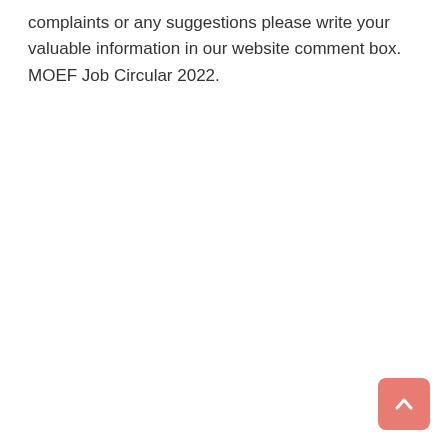complaints or any suggestions please write your valuable information in our website comment box. MOEF Job Circular 2022.